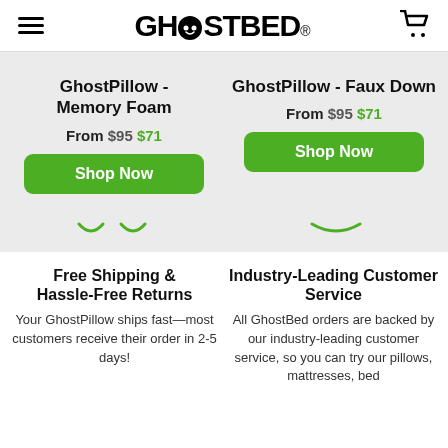[Figure (logo): GhostBed logo with ghost face icon in the letter O, hamburger menu icon on left, shopping cart icon on right]
GhostPillow - Memory Foam
From $95 $71
GhostPillow - Faux Down
From $95 $71
Shop Now
Shop Now
Free Shipping & Hassle-Free Returns
Industry-Leading Customer Service
Your GhostPillow ships fast—most customers receive their order in 2-5 days!
All GhostBed orders are backed by our industry-leading customer service, so you can try our pillows, mattresses, bed